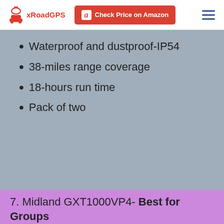xRoadGPS | Check Price on Amazon
Waterproof and dustproof-IP54
38-miles range coverage
18-hours run time
Pack of two
7. Midland GXT1000VP4- Best for Groups